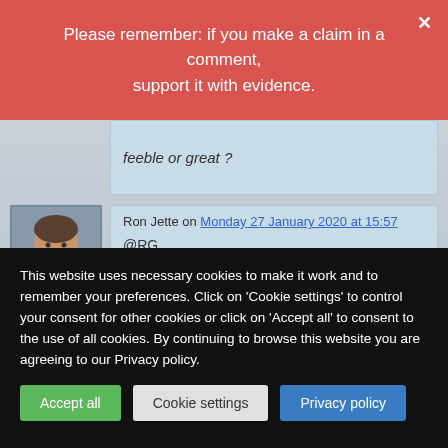Please remember: if you make a claim in a comment, support it with evidence.
feeble or great ?
Ron Jette on Monday 27 January 2020 at 15:57
@RG
Paranoia ??? is that the best you've got ?
This website uses necessary cookies to make it work and to remember your preferences. Click on 'Cookie settings' to control your consent for other cookies or click on 'Accept all' to consent to the use of all cookies. By continuing to browse this website you are agreeing to our Privacy policy.
Accept all
Cookie settings
Privacy policy